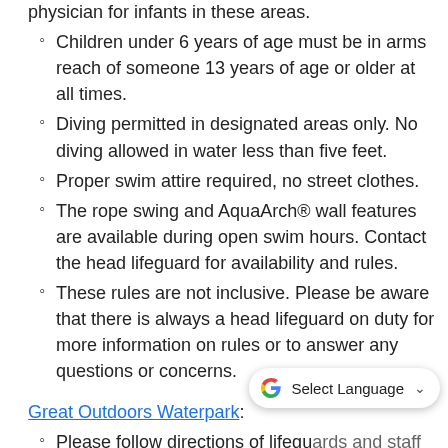physician for infants in these areas.
Children under 6 years of age must be in arms reach of someone 13 years of age or older at all times.
Diving permitted in designated areas only. No diving allowed in water less than five feet.
Proper swim attire required, no street clothes.
The rope swing and AquaArch® wall features are available during open swim hours. Contact the head lifeguard for availability and rules.
These rules are not inclusive. Please be aware that there is always a head lifeguard on duty for more information on rules or to answer any questions or concerns.
Great Outdoors Waterpark:
Please follow directions of lifeguards and staff